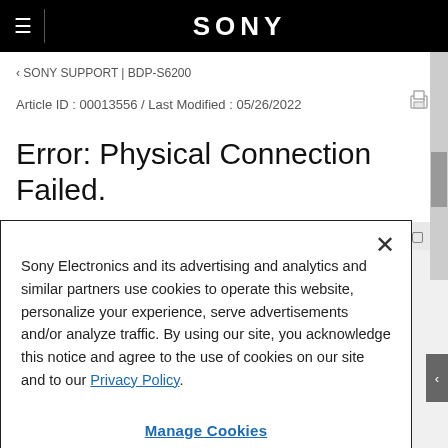SONY
‹ SONY SUPPORT | BDP-S6200
Article ID : 00013556 / Last Modified : 05/26/2022
Error: Physical Connection Failed.
Applicable Products and Categories of This Article
Sony Electronics and its advertising and analytics and similar partners use cookies to operate this website, personalize your experience, serve advertisements and/or analyze traffic. By using our site, you acknowledge this notice and agree to the use of cookies on our site and to our Privacy Policy.
Manage Cookies